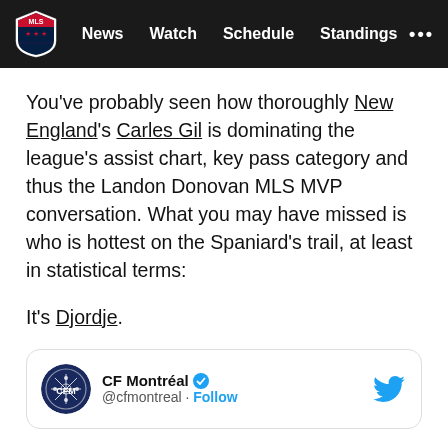MLS — News  Watch  Schedule  Standings  ...
You've probably seen how thoroughly New England's Carles Gil is dominating the league's assist chart, key pass category and thus the Landon Donovan MLS MVP conversation. What you may have missed is who is hottest on the Spaniard's trail, at least in statistical terms:
It's Djordje.
[Figure (screenshot): Tweet embed card showing CF Montréal (@cfmontreal) Twitter account with a Follow button and Twitter bird icon]